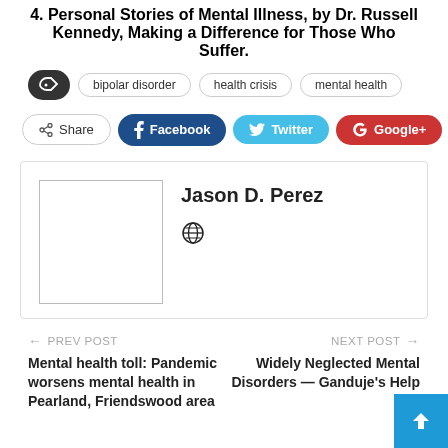4. Personal Stories of Mental Illness, by Dr. Russell Kennedy, Making a Difference for Those Who Suffer.
bipolar disorder   health crisis   mental health
Share   Facebook   Twitter   Google+   +
Jason D. Perez
← PREV POST
Mental health toll: Pandemic worsens mental health in Pearland, Friendswood area
NEXT POST →
Widely Neglected Mental Disorders — Ganduje's Help